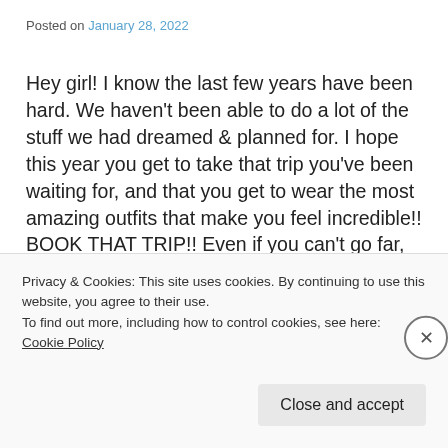Posted on January 28, 2022
Hey girl! I know the last few years have been hard. We haven't been able to do a lot of the stuff we had dreamed & planned for. I hope this year you get to take that trip you've been waiting for, and that you get to wear the most amazing outfits that make you feel incredible!! BOOK THAT TRIP!! Even if you can't go far, let's check some things off of our bucket lists this year! We all deserve it after everything we've been through. This post is dedicated to a few of my favorite
Privacy & Cookies: This site uses cookies. By continuing to use this website, you agree to their use.
To find out more, including how to control cookies, see here: Cookie Policy
Close and accept